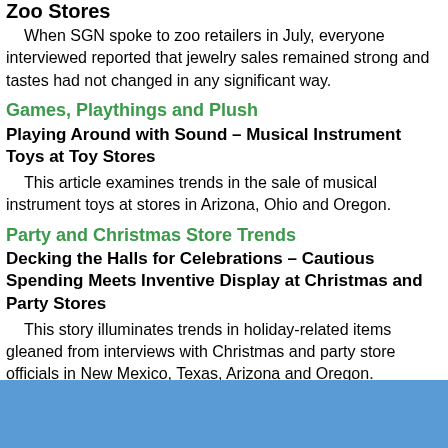Zoo Stores
When SGN spoke to zoo retailers in July, everyone interviewed reported that jewelry sales remained strong and tastes had not changed in any significant way.
Games, Playthings and Plush
Playing Around with Sound – Musical Instrument Toys at Toy Stores
This article examines trends in the sale of musical instrument toys at stores in Arizona, Ohio and Oregon.
Party and Christmas Store Trends
Decking the Halls for Celebrations – Cautious Spending Meets Inventive Display at Christmas and Party Stores
This story illuminates trends in holiday-related items gleaned from interviews with Christmas and party store officials in New Mexico, Texas, Arizona and Oregon.